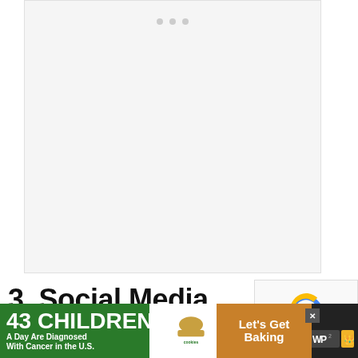[Figure (screenshot): Embedded video player area with light gray background and three navigation dots at the top center]
[Figure (screenshot): reCAPTCHA widget showing the circular arrow logo with Privacy and Terms text]
3. Social Media Scheduler
[Figure (infographic): Advertisement banner: '43 CHILDREN A Day Are Diagnosed With Cancer in the U.S.' with cookies for kids cancer logo and 'Let's Get Baking' call to action on brown background]
16 Share